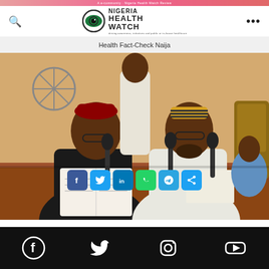A e-community - Nigeria Health Watch
[Figure (logo): Nigeria Health Watch logo with eye icon]
Health Fact-Check Naija
[Figure (photo): Two men in traditional attire sitting at a table with an open book and microphones, with other people in the background]
[Figure (infographic): Social media share buttons: Facebook, Twitter, LinkedIn, WhatsApp, Telegram, Share]
Facebook, Twitter, Instagram, YouTube social media icons